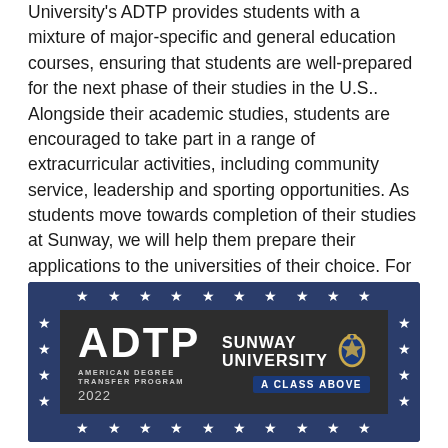University's ADTP provides students with a mixture of major-specific and general education courses, ensuring that students are well-prepared for the next phase of their studies in the U.S.. Alongside their academic studies, students are encouraged to take part in a range of extracurricular activities, including community service, leadership and sporting opportunities. As students move towards completion of their studies at Sunway, we will help them prepare their applications to the universities of their choice. For more information, please see the ADTP Profile and Course Catalog.
[Figure (illustration): ADTP (American Degree Transfer Program) 2022 banner for Sunway University with dark background, star border pattern, and Sunway University 'A Class Above' branding with crest logo.]